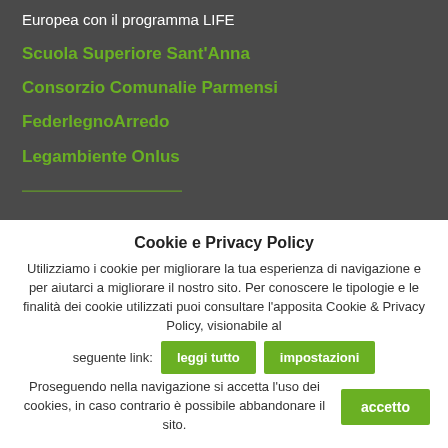Europea con il programma LIFE
Scuola Superiore Sant'Anna
Consorzio Comunalie Parmensi
FederlegnoArredo
Legambiente Onlus
Cookie e Privacy Policy
Utilizziamo i cookie per migliorare la tua esperienza di navigazione e per aiutarci a migliorare il nostro sito. Per conoscere le tipologie e le finalità dei cookie utilizzati puoi consultare l'apposita Cookie & Privacy Policy, visionabile al seguente link:
Proseguendo nella navigazione si accetta l'uso dei cookies, in caso contrario è possibile abbandonare il sito.